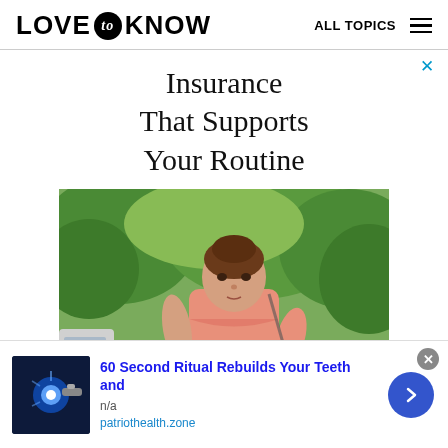LOVE to KNOW   ALL TOPICS
[Figure (infographic): Advertisement banner: 'Insurance That Supports Your Routine' with photo of a woman in athletic wear outdoors with trees in the background. Blue X close button in upper right.]
[Figure (infographic): Bottom ad banner: '60 Second Ritual Rebuilds Your Teeth and' from patriothealth.zone, with image of dental light tool, n/a label, and blue arrow navigation button. Gray X close button.]